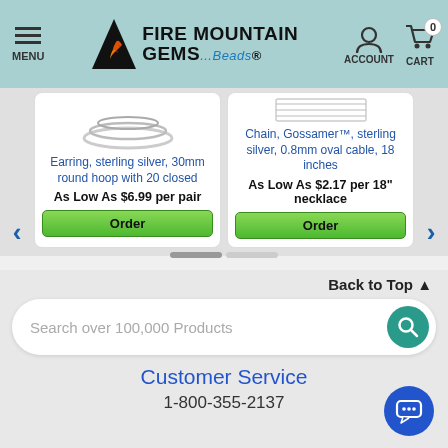Fire Mountain Gems and Beads — MENU | ACCOUNT | CART 0
[Figure (screenshot): Product image of earring, sterling silver necklace chain on white background]
Earring, sterling silver, 30mm round hoop with 20 closed
As Low As $6.99 per pair
Order
[Figure (screenshot): Product image of chain gossamer sterling silver necklace on white background]
Chain, Gossamer™, sterling silver, 0.8mm oval cable, 18 inches
As Low As $2.17 per 18" necklace
Order
Back to Top ▲
Search over 100,000 Products
Customer Service
1-800-355-2137